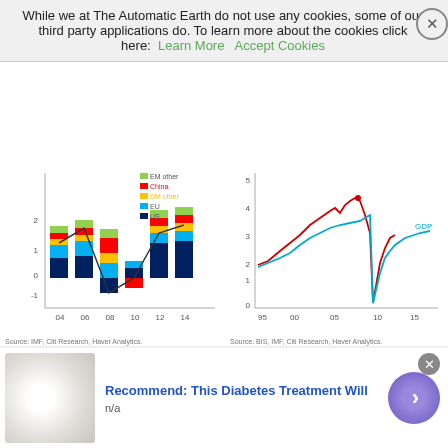While we at The Automatic Earth do not use any cookies, some of our third party applications do. To learn more about the cookies click here: Learn More   Accept Cookies
[Figure (stacked-bar-chart): Stacked bar chart with categories 04, 06, 08, 10, 12, 14 and a line overlay. Legend: EM other, China, DM other, EU, US]
[Figure (line-chart): Two-line chart (red and blue/GDP line) from ~95 to 15, y-axis 0-5+]
Source: IMF, Citi Research, Haver Analytics.
Source: BIS, IMF, Citi Research, Haver Analytics.
Read more …
Space for stockpiling is always limited. Then it's on to dumping.
• Saudi Crude Stockpiles at Record High in August as Exports Fell (Bloomberg)
[Figure (photo): Ad banner: egg-like white objects, Recommend: This Diabetes Treatment Will, n/a]